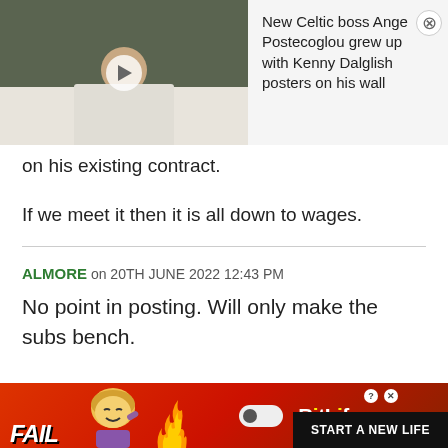[Figure (screenshot): Video thumbnail showing a man in a white shirt with play button overlay]
New Celtic boss Ange Postecoglou grew up with Kenny Dalglish posters on his wall
on his existing contract.
If we meet it then it is all down to wages.
ALMORE on 20TH JUNE 2022 12:43 PM
No point in posting. Will only make the subs bench.
FirstteamonlyCSC
[Figure (screenshot): Advertisement banner for BitLife game showing FAIL text, animated character, flames, and START A NEW LIFE button]